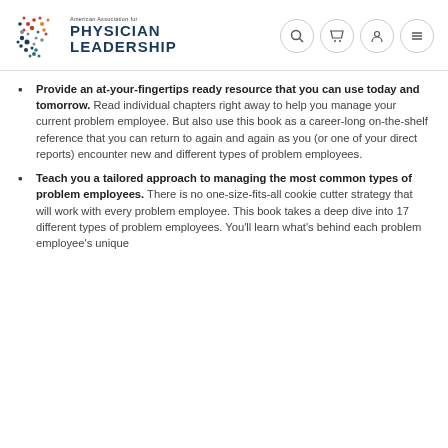[Figure (logo): American Association for Physician Leadership logo with colorful dot pattern and text]
Provide an at-your-fingertips ready resource that you can use today and tomorrow. Read individual chapters right away to help you manage your current problem employee. But also use this book as a career-long on-the-shelf reference that you can return to again and again as you (or one of your direct reports) encounter new and different types of problem employees.
Teach you a tailored approach to managing the most common types of problem employees. There is no one-size-fits-all cookie cutter strategy that will work with every problem employee. This book takes a deep dive into 17 different types of problem employees. You'll learn what's behind each problem employee's unique